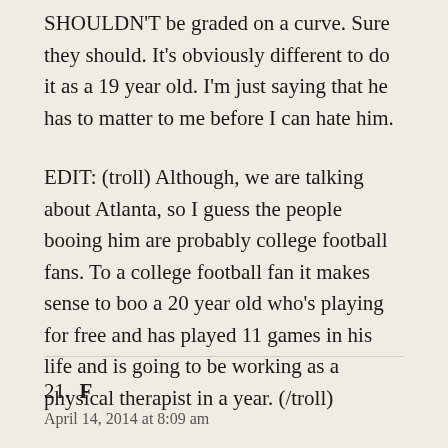SHOULDN'T be graded on a curve. Sure they should. It's obviously different to do it as a 19 year old. I'm just saying that he has to matter to me before I can hate him.
EDIT: (troll) Although, we are talking about Atlanta, so I guess the people booing him are probably college football fans. To a college football fan it makes sense to boo a 20 year old who's playing for free and has played 11 games in his life and is going to be working as a physical therapist in a year. (/troll)
21. F
April 14, 2014 at 8:09 am